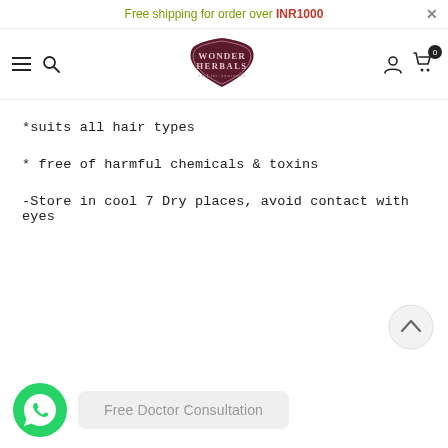Free shipping for order over INR1000
[Figure (logo): Wonder Herbals logo — dark maroon shield-shaped badge with decorative text]
*suits all hair types
* free of harmful chemicals & toxins
-Store in cool 7 Dry places, avoid contact with eyes
[Figure (other): Back to top arrow button — circular grey button with upward chevron]
[Figure (other): WhatsApp icon — green circular chat bubble with phone handset]
Free Doctor Consultation